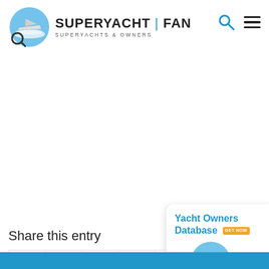[Figure (logo): SuperYacht Fan logo: circular blue wave graphic with yacht and magnifying glass, with text SUPERYACHT | FAN and subtitle SUPERYACHTS & OWNERS]
Share this entry
[Figure (infographic): Social media share buttons row: Facebook, Twitter, WhatsApp, Pinterest, LinkedIn, Tumblr, VK, Reddit, Email, Yelp, Instagram, YouTube]
[Figure (infographic): Yacht Owners Database promotional card with logo]
EN
Blue footer bar